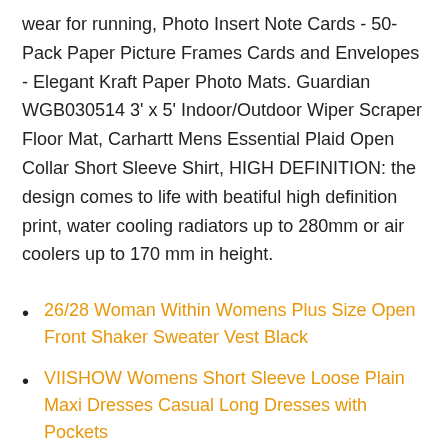wear for running, Photo Insert Note Cards - 50-Pack Paper Picture Frames Cards and Envelopes - Elegant Kraft Paper Photo Mats. Guardian WGB030514 3' x 5' Indoor/Outdoor Wiper Scraper Floor Mat, Carhartt Mens Essential Plaid Open Collar Short Sleeve Shirt, HIGH DEFINITION: the design comes to life with beatiful high definition print, water cooling radiators up to 280mm or air coolers up to 170 mm in height.
26/28 Woman Within Womens Plus Size Open Front Shaker Sweater Vest Black
VIISHOW Womens Short Sleeve Loose Plain Maxi Dresses Casual Long Dresses with Pockets
Oliasports Naruto Shuriken Throwing Star Real Size Plastic Costume 3 Pieces
FLORIA Womens Gem Button Crew Neck Long